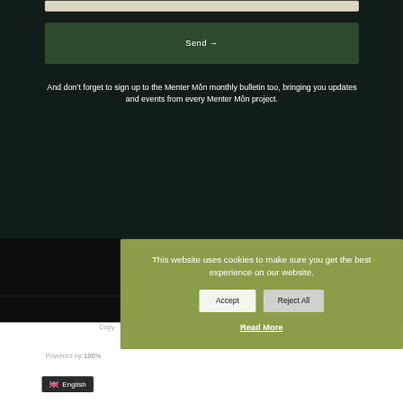[Figure (screenshot): Input bar at top of dark background section]
[Figure (screenshot): Dark green Send button with arrow]
And don't forget to sign up to the Menter Môn monthly bulletin too, bringing you updates and events from every Menter Môn project.
This website uses cookies to make sure you get the best experience on our website.
Accept
Reject All
Read More
Copy
Powered by 100%
English